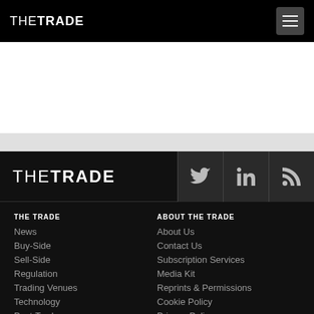THE TRADE
[Figure (logo): THE TRADE logo in footer brand bar with social icons for Twitter, LinkedIn, RSS]
THE TRADE
News
Buy-Side
Sell-Side
Regulation
Trading Venues
Technology
Post-Trade
Asset Classes
ABOUT THE TRADE
About Us
Contact Us
Subscription Services
Media Kit
Reprints & Permissions
Cookie Policy
Privacy Policy